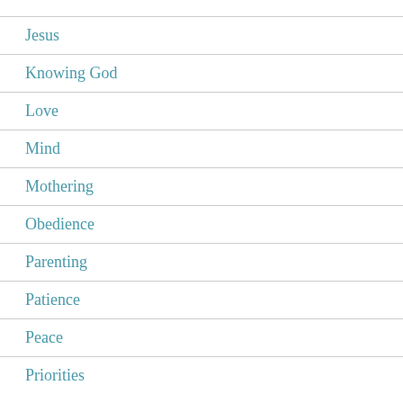Jesus
Knowing God
Love
Mind
Mothering
Obedience
Parenting
Patience
Peace
Priorities